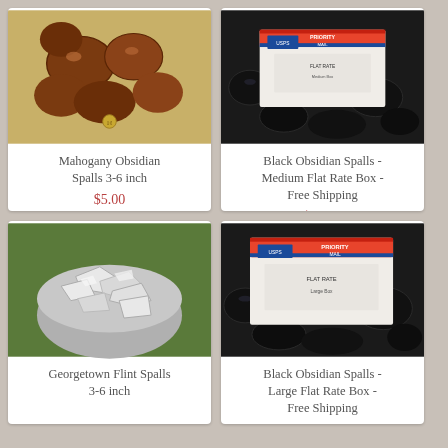[Figure (photo): Mahogany obsidian spalls, brown/red rough rocks, 3-6 inch, arranged on a surface with a coin for scale]
Mahogany Obsidian Spalls 3-6 inch
$5.00
[Figure (photo): USPS Priority Mail flat rate box sitting on top of black obsidian spalls]
Black Obsidian Spalls - Medium Flat Rate Box - Free Shipping
$70.00
[Figure (photo): Georgetown flint spalls, white/grey flat flint pieces in a bowl]
Georgetown Flint Spalls 3-6 inch
[Figure (photo): USPS Priority Mail large flat rate box sitting on top of black obsidian spalls]
Black Obsidian Spalls - Large Flat Rate Box - Free Shipping